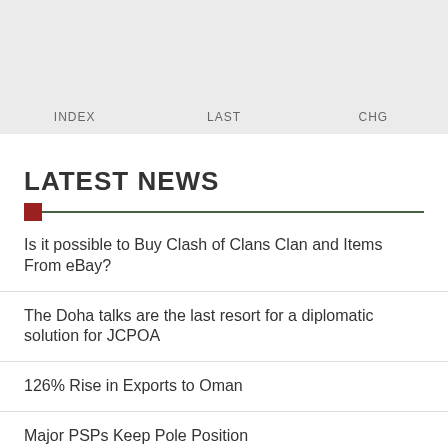INDEX   LAST   CHG
LATEST NEWS
Is it possible to Buy Clash of Clans Clan and Items From eBay?
The Doha talks are the last resort for a diplomatic solution for JCPOA
126% Rise in Exports to Oman
Major PSPs Keep Pole Position
Iranians Rank Second in Buying Turkish Property
Need to Redouble Efforts to Implement Iran-Kazakhstan Agre...